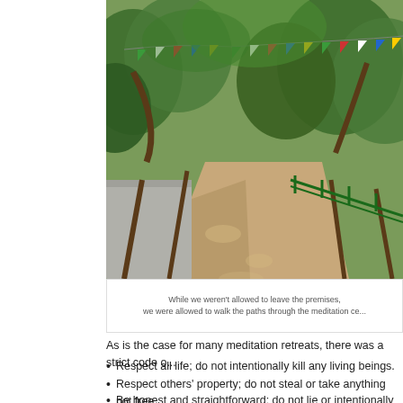[Figure (photo): A forested path with colorful prayer flags strung between trees overhead. A concrete retaining wall on the left side and a green metal railing on the right. The path is made of packed earth/gravel and winds through dense green trees.]
While we weren't allowed to leave the premises, we were allowed to walk the paths through the meditation ce...
As is the case for many meditation retreats, there was a strict code o...
Respect all life; do not intentionally kill any living beings.
Respect others' property; do not steal or take anything not free...
Be honest and straightforward; do not lie or intentionally dece...